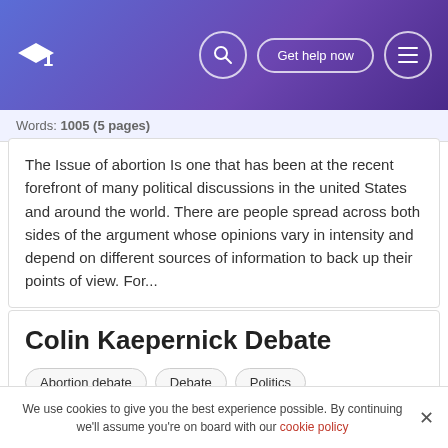[Figure (screenshot): Navigation header with graduation cap logo, search icon, 'Get help now' button, and hamburger menu icon on purple gradient background]
Words: 1005 (5 pages)
The Issue of abortion Is one that has been at the recent forefront of many political discussions in the united States and around the world. There are people spread across both sides of the argument whose opinions vary in intensity and depend on different sources of information to back up their points of view. For...
Colin Kaepernick Debate
Abortion debate
Debate
Politics
United States
We use cookies to give you the best experience possible. By continuing we'll assume you're on board with our cookie policy
In 2016, an NFL player named Colin Kaepernick decided